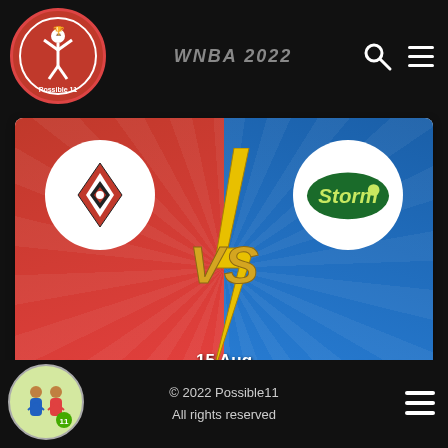WNBA 2022
[Figure (screenshot): Match card showing LVA vs SEA, 15 Aug 0:30 AM IST, WNBA 2022 with team logos on red and blue background]
LVA vs SEA
WNBA 2022
[Figure (screenshot): Match card showing NY vs DAL team with WNBA 2022 title on red and blue background]
© 2022 Possible11
All rights reserved